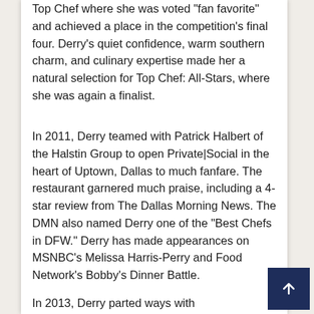Top Chef where she was voted "fan favorite" and achieved a place in the competition's final four. Derry's quiet confidence, warm southern charm, and culinary expertise made her a natural selection for Top Chef: All-Stars, where she was again a finalist.
In 2011, Derry teamed with Patrick Halbert of the Halstin Group to open Private|Social in the heart of Uptown, Dallas to much fanfare. The restaurant garnered much praise, including a 4-star review from The Dallas Morning News. The DMN also named Derry one of the "Best Chefs in DFW." Derry has made appearances on MSNBC's Melissa Harris-Perry and Food Network's Bobby's Dinner Battle.
In 2013, Derry parted ways with